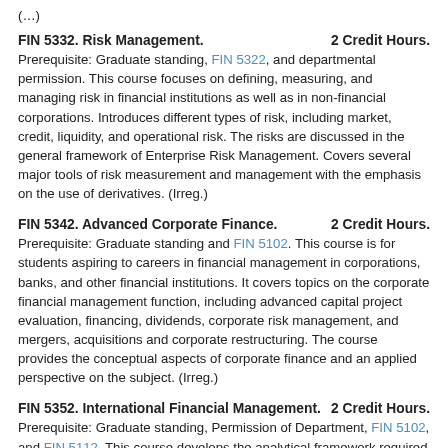(…)
FIN 5332. Risk Management.    2 Credit Hours.
Prerequisite: Graduate standing, FIN 5322, and departmental permission. This course focuses on defining, measuring, and managing risk in financial institutions as well as in non-financial corporations. Introduces different types of risk, including market, credit, liquidity, and operational risk. The risks are discussed in the general framework of Enterprise Risk Management. Covers several major tools of risk measurement and management with the emphasis on the use of derivatives. (Irreg.)
FIN 5342. Advanced Corporate Finance.    2 Credit Hours.
Prerequisite: Graduate standing and FIN 5102. This course is for students aspiring to careers in financial management in corporations, banks, and other financial institutions. It covers topics on the corporate financial management function, including advanced capital project evaluation, financing, dividends, corporate risk management, and mergers, acquisitions and corporate restructuring. The course provides the conceptual aspects of corporate finance and an applied perspective on the subject. (Irreg.)
FIN 5352. International Financial Management.    2 Credit Hours.
Prerequisite: Graduate standing, Permission of Department, FIN 5102, and FIN 5112. This course develops the analytical framework required for understanding